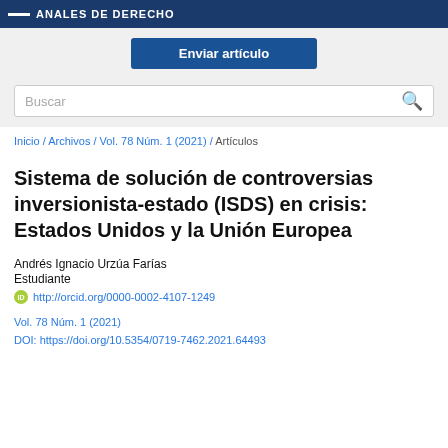ANALES DE DERECHO - UNIVERSIDAD DE CHILE
Enviar artículo
Buscar
Inicio / Archivos / Vol. 78 Núm. 1 (2021) / Artículos
Sistema de solución de controversias inversionista-estado (ISDS) en crisis: Estados Unidos y la Unión Europea
Andrés Ignacio Urzúa Farías
Estudiante
http://orcid.org/0000-0002-4107-1249
Vol. 78 Núm. 1 (2021)
DOI: https://doi.org/10.5354/0719-7462.2021.64493